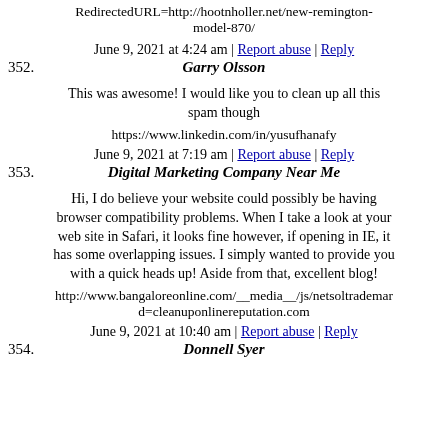RedirectedURL=http://hootnholler.net/new-remington-model-870/
June 9, 2021 at 4:24 am | Report abuse | Reply
352. Garry Olsson
This was awesome! I would like you to clean up all this spam though
https://www.linkedin.com/in/yusufhanafy
June 9, 2021 at 7:19 am | Report abuse | Reply
353. Digital Marketing Company Near Me
Hi, I do believe your website could possibly be having browser compatibility problems. When I take a look at your web site in Safari, it looks fine however, if opening in IE, it has some overlapping issues. I simply wanted to provide you with a quick heads up! Aside from that, excellent blog!
http://www.bangaloreonline.com/__media__/js/netsoltrademark?d=cleanuponlinereputation.com
June 9, 2021 at 10:40 am | Report abuse | Reply
354. Donnell Syer